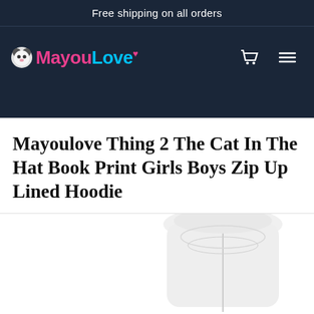Free shipping on all orders
[Figure (logo): MayouLove logo with pink 'Mayou' and blue 'Love' text with a small heart icon]
Mayoulove Thing 2 The Cat In The Hat Book Print Girls Boys Zip Up Lined Hoodie
[Figure (photo): Partial product photo showing a white zip-up lined hoodie]